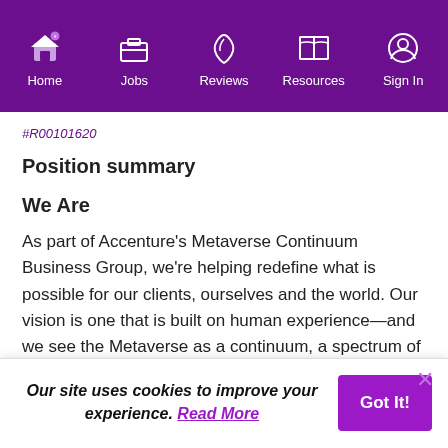Home | Jobs | Reviews | Resources | Sign In
#R00101620
Position summary
We Are
As part of Accenture's Metaverse Continuum Business Group, we're helping redefine what is possible for our clients, ourselves and the world. Our vision is one that is built on human experience—and we see the Metaverse as a continuum, a spectrum of digitally enhanced worlds, realities,
Our site uses cookies to improve your experience. Read More
Got It!